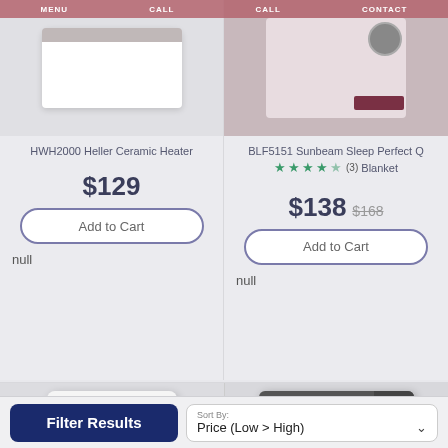MENU  CALL  CALL  CONTACT
[Figure (photo): HWH2000 Heller Ceramic Heater product image - white wall heater]
[Figure (photo): BLF5151 Sunbeam Sleep Perfect Queen Blanket - person sleeping in bed with blanket, warranty badges visible]
HWH2000 Heller Ceramic Heater
BLF5151 Sunbeam Sleep Perfect Queen Blanket ★★★★☆ (3)
$129
$138 $168
Add to Cart
Add to Cart
null
null
[Figure (photo): Second heater product - white/grey panel heater with digital display]
[Figure (photo): Third heater product - dark grey radiant bar heater with glowing elements]
Filter Results
Sort By: Price (Low > High)